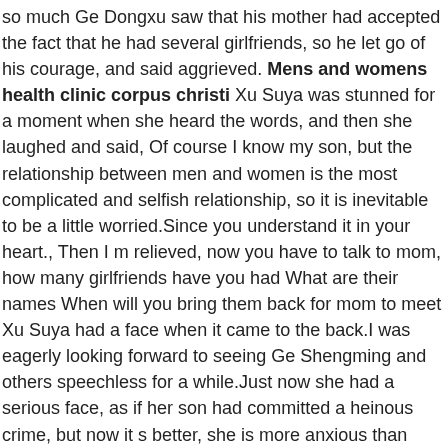so much Ge Dongxu saw that his mother had accepted the fact that he had several girlfriends, so he let go of his courage, and said aggrieved. Mens and womens health clinic corpus christi Xu Suya was stunned for a moment when she heard the words, and then she laughed and said, Of course I know my son, but the relationship between men and women is the most complicated and selfish relationship, so it is inevitable to be a little worried.Since you understand it in your heart., Then I m relieved, now you have to talk to mom, how many girlfriends have you had What are their names When will you bring them back for mom to meet Xu Suya had a face when it came to the back.I was eagerly looking forward to seeing Ge Shengming and others speechless for a while.Just now she had a serious face, as if her son had committed a heinous crime, but now it s better, she is more anxious than they are.Mom, when I ve settled things, I ll come back and talk to you slowly.Ge Dongxu was unavoidably blushing when his mother asked him.Well, how many girlfriends can you tell mom now Xu Suya could see that her son was still a little embarrassed to say in front of so many people, so she nodded.This, there are currently three confirmed.